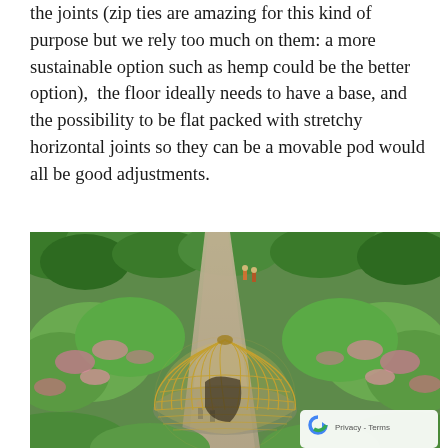the joints (zip ties are amazing for this kind of purpose but we rely too much on them: a more sustainable option such as hemp could be the better option),  the floor ideally needs to have a base, and the possibility to be flat packed with stretchy horizontal joints so they can be a movable pod would all be good adjustments.
[Figure (photo): Aerial view of a dome-shaped bamboo/wooden lattice structure in a park-like garden setting with a paved pathway, lush green trees and flowering shrubs. People are visible walking along the path. A Google reCAPTCHA / Privacy-Terms badge is in the bottom-right corner.]